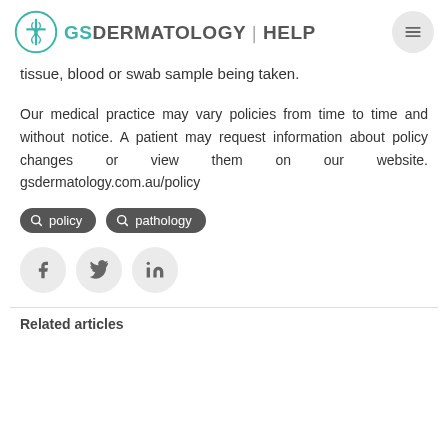GS DERMATOLOGY | HELP
tissue, blood or swab sample being taken.
Our medical practice may vary policies from time to time and without notice. A patient may request information about policy changes or view them on our website. gsdermatology.com.au/policy
policy   pathology
[Figure (other): Social share buttons: Facebook, Twitter, LinkedIn]
Related articles